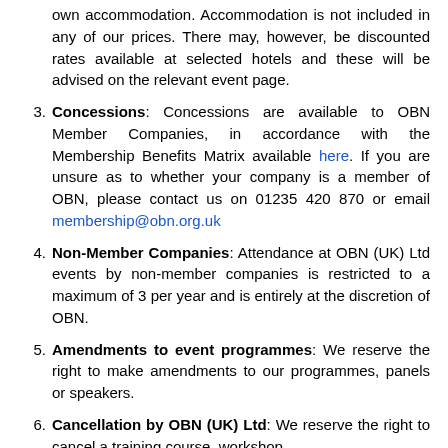own accommodation. Accommodation is not included in any of our prices. There may, however, be discounted rates available at selected hotels and these will be advised on the relevant event page.
3. Concessions: Concessions are available to OBN Member Companies, in accordance with the Membership Benefits Matrix available here. If you are unsure as to whether your company is a member of OBN, please contact us on 01235 420 870 or email membership@obn.org.uk
4. Non-Member Companies: Attendance at OBN (UK) Ltd events by non-member companies is restricted to a maximum of 3 per year and is entirely at the discretion of OBN.
5. Amendments to event programmes: We reserve the right to make amendments to our programmes, panels or speakers.
6. Cancellation by OBN (UK) Ltd: We reserve the right to cancel a training course, workshop,